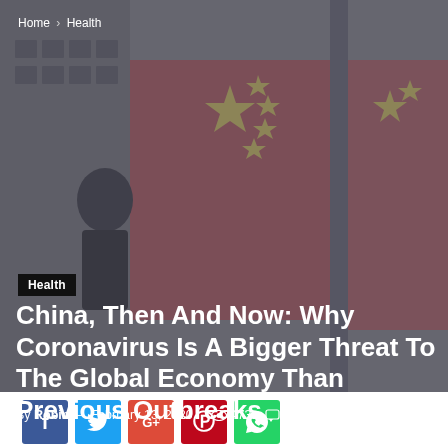Home › Health
[Figure (photo): Background photo showing Chinese flags (red with yellow stars) with a figure in the foreground, overlaid with a dark translucent filter]
Health
China, Then And Now: Why Coronavirus Is A Bigger Threat To The Global Economy Than Previous Outbreaks
By Robin – February 13, 2020  473  0
[Figure (infographic): Social media share buttons row: Facebook, Twitter, Google+, Pinterest, WhatsApp]